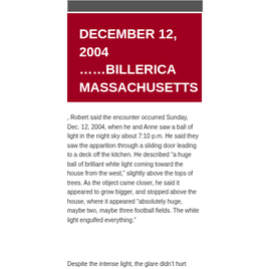[Figure (photo): Partial photo strip at top of page, dark/nature scene]
DECEMBER 12, 2004 ……BILLERICA MASSACHUSETTS
, Robert said the encounter occurred Sunday, Dec. 12, 2004, when he and Anne saw a ball of light in the night sky about 7:10 p.m. He said they saw the apparition through a sliding door leading to a deck off the kitchen. He described “a huge ball of brilliant white light coming toward the house from the west,” slightly above the tops of trees. As the object came closer, he said it appeared to grow bigger, and stopped above the house, where it appeared “absolutely huge, maybe two, maybe three football fields. The white light engulfed everything.”
Despite the intense light, the glare didn’t hurt their eyes